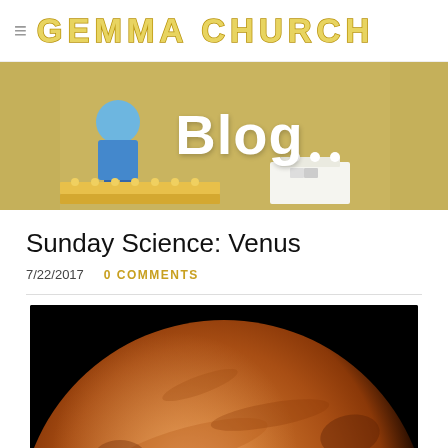≡ GEMMA CHURCH
[Figure (photo): Blog banner with golden/tan background showing Lego figures and the word 'Blog' in large white bold text centered on the banner.]
Sunday Science: Venus
7/22/2017   0 COMMENTS
[Figure (photo): Close-up image of the planet Venus against a black background. The planet surface is orange-brown and rust colored with visible cloud and terrain textures.]